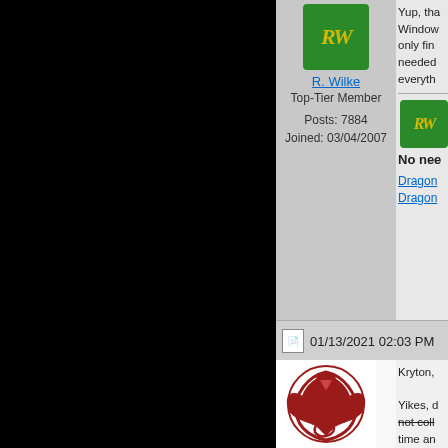[Figure (illustration): Green avatar with yellow RW initials in italic script]
R. Wilke
Top-Tier Member
Posts: 7884
Joined: 03/04/2007
Yup, tha Window only fin needed everythi
No nee
Dragon Dragon
01/13/2021 02:03 PM
[Figure (illustration): Red dragon circular logo on white background]
Kryton,
Yikes, d not coll time an 15.3 up to-date